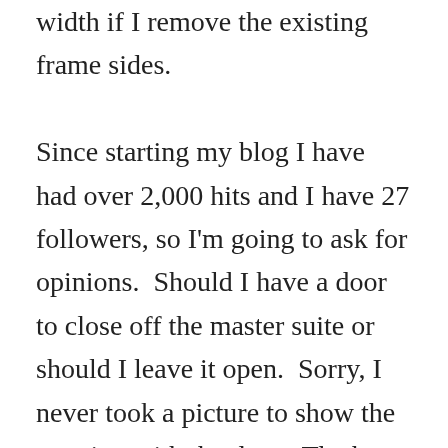width if I remove the existing frame sides.

Since starting my blog I have had over 2,000 hits and I have 27 followers, so I'm going to ask for opinions.  Should I have a door to close off the master suite or should I leave it open.  Sorry, I never took a picture to show the opening with the door.  The best picture to see the opening with the lathe is the Open Concept post (look on the left side of pic).  Without the door those steps, once refinished, would be worth showing off and the natural light from the window at the top of the stairs would cascade down.  Plus I gain wall space.  I'd probably never have the door closed.  One thought to have it is to